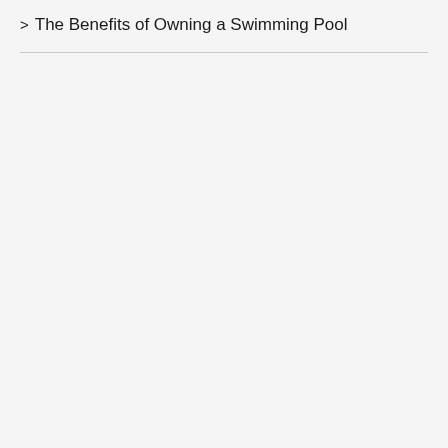> The Benefits of Owning a Swimming Pool